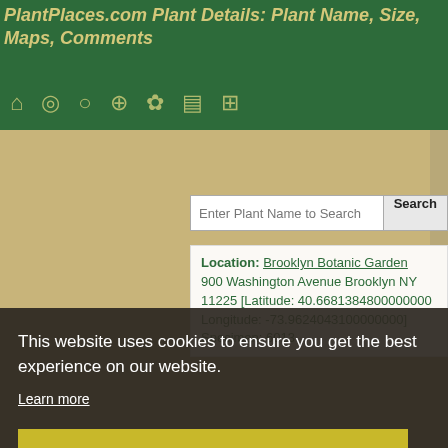PlantPlaces.com Plant Details: Plant Name, Size, Maps, Comments
[Figure (screenshot): Navigation icon bar with home, location pin, search, settings, list, and other icons on green background]
Enter Plant Name to Search
Location: Brooklyn Botanic Garden 900 Washington Avenue Brooklyn NY 11225 [Latitude: 40.6681384800000000 Longitude: -73.9624043100000000] Specimen: 6013
This website uses cookies to ensure you get the best experience on our website.
Learn more
Got it!